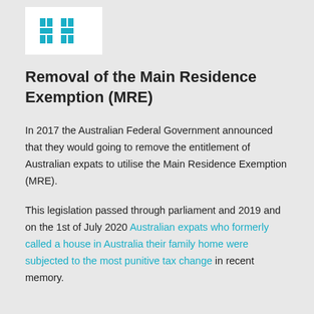[Figure (logo): Company logo with stylized H letters in teal/cyan on white background]
Removal of the Main Residence Exemption (MRE)
In 2017 the Australian Federal Government announced that they would going to remove the entitlement of Australian expats to utilise the Main Residence Exemption (MRE).
This legislation passed through parliament and 2019 and on the 1st of July 2020 Australian expats who formerly called a house in Australia their family home were subjected to the most punitive tax change in recent memory.